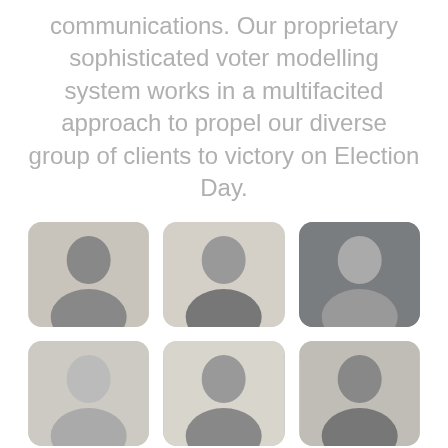communications. Our proprietary sophisticated voter modelling system works in a multifacited approach to propel our diverse group of clients to victory on Election Day.
[Figure (photo): Grid of 9 black-and-white headshot photos of diverse individuals arranged in a 3x3 grid with rounded corners]